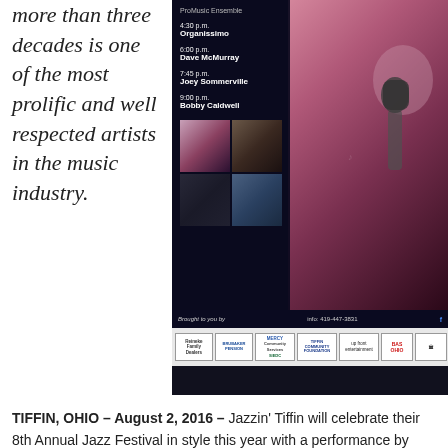more than three decades is one of the most prolific and well respected artists in the music industry.
[Figure (photo): Jazz festival promotional flyer showing a singer performing with a microphone, schedule listing ProMusic Ensemble, Organissimo at 4:30 p.m., Dave McMurray at 6:00 p.m., Joey Sommerville at 7:45 p.m., Bobby Caldwell at 9:00 p.m., thumbnail photos of performers, brought to you by info: 419-447-3831, sponsor logos including Mercy, Tiffin Community Foundation, up front entertainment, BAS Ohio]
TIFFIN, OHIO – August 2, 2016 – Jazzin' Tiffin will celebrate their 8th Annual Jazz Festival in style this year with a performance by Jazz